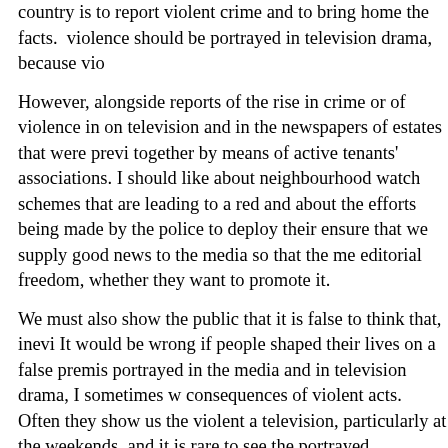country is to report violent crime and to bring home the facts. violence should be portrayed in television drama, because vio
However, alongside reports of the rise in crime or of violence in on television and in the newspapers of estates that were previ together by means of active tenants' associations. I should like about neighbourhood watch schemes that are leading to a red and about the efforts being made by the police to deploy their ensure that we supply good news to the media so that the me editorial freedom, whether they want to promote it.
We must also show the public that it is false to think that, inevi It would be wrong if people shaped their lives on a false premis portrayed in the media and in television drama, I sometimes w consequences of violent acts. Often they show us the violent a television, particularly at the weekends, and it is rare to see the portrayed.
Mr. Skinner That was done with Dirty Den.
Mr. Patten I do not want to go into Dirty Den. I must be one of have watched "EastEnders", and I do not intend to break my c